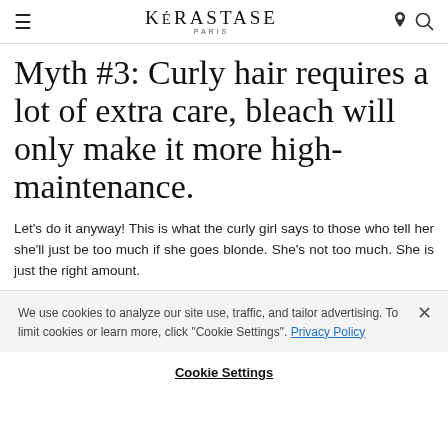KÉRASTASE PARIS
Myth #3: Curly hair requires a lot of extra care, bleach will only make it more high-maintenance.
Let's do it anyway! This is what the curly girl says to those who tell her she'll just be too much if she goes blonde. She's not too much. She is just the right amount.
We use cookies to analyze our site use, traffic, and tailor advertising. To limit cookies or learn more, click "Cookie Settings". Privacy Policy
Cookie Settings